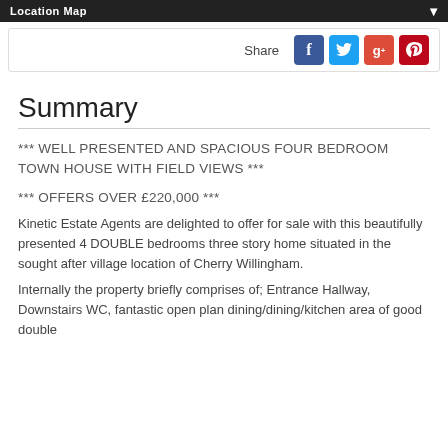Location Map
[Figure (other): Social share bar with Facebook, Twitter, Google+, and Pinterest icons]
Summary
*** WELL PRESENTED AND SPACIOUS FOUR BEDROOM TOWN HOUSE WITH FIELD VIEWS ***
*** OFFERS OVER £220,000 ***
Kinetic Estate Agents are delighted to offer for sale with this beautifully presented 4 DOUBLE bedrooms three story home situated in the sought after village location of Cherry Willingham.
Internally the property briefly comprises of; Entrance Hallway, Downstairs WC, fantastic open plan dining/dining/kitchen area of good double